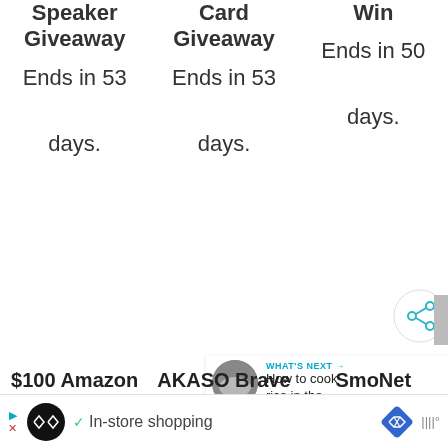Speaker Giveaway Ends in 53 days.
Card Giveaway Ends in 53 days.
Win Ends in 50 days.
[Figure (other): Share button icon (circular button with share symbol)]
[Figure (other): What's Next panel with thumbnail image of rice and text: How to cook rice in the...]
$100 Amazon
AKASO Brave
SmoNet
[Figure (other): Advertisement bar with arrow ad icon, black circle logo with infinity symbol, checkmark, 'In-store shopping' text, blue diamond navigation icon, and weather/clock icons]